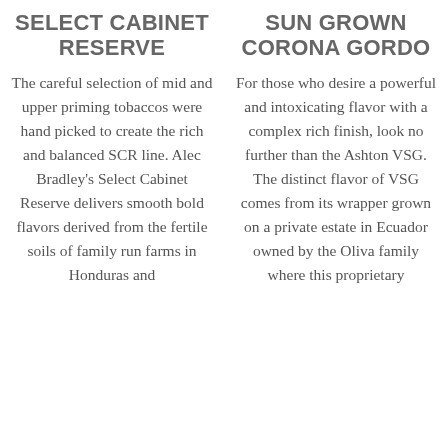SELECT CABINET RESERVE
The careful selection of mid and upper priming tobaccos were hand picked to create the rich and balanced SCR line. Alec Bradley's Select Cabinet Reserve delivers smooth bold flavors derived from the fertile soils of family run farms in Honduras and
SUN GROWN CORONA GORDO
For those who desire a powerful and intoxicating flavor with a complex rich finish, look no further than the Ashton VSG. The distinct flavor of VSG comes from its wrapper grown on a private estate in Ecuador owned by the Oliva family where this proprietary